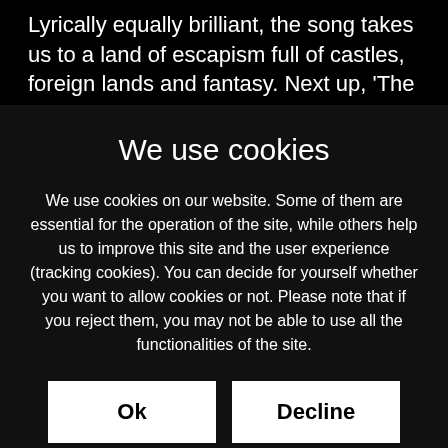Lyrically equally brilliant, the song takes us to a land of escapism full of castles, foreign lands and fantasy. Next up, 'The Fallen' gets heavier still and sees Davinia Cano's voice oozing soul whilst digging in and adding a gritty
We use cookies
We use cookies on our website. Some of them are essential for the operation of the site, while others help us to improve this site and the user experience (tracking cookies). You can decide for yourself whether you want to allow cookies or not. Please note that if you reject them, you may not be able to use all the functionalities of the site.
Ok
Decline
More information